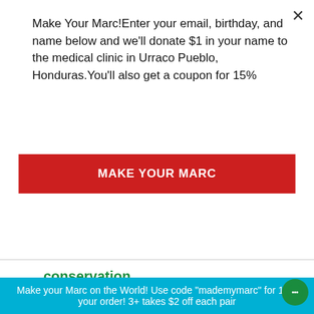Make Your Marc!Enter your email, birthday, and name below and we'll donate $1 in your name to the medical clinic in Urraco Pueblo, Honduras.You'll also get a coupon for 15%
MAKE YOUR MARC
conservation
conserve
convoy of hope
costume
cotton
cure
dad
deforestation
Make your Marc on the World! Use code "mademymarc" for 1 off your order! 3+ takes $2 off each pair